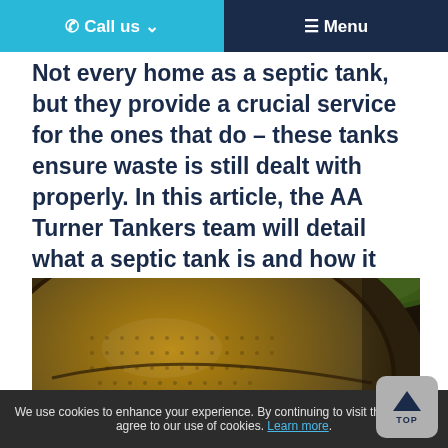☎ Call us ∨   ☰ Menu
Not every home as a septic tank, but they provide a crucial service for the ones that do – these tanks ensure waste is still dealt with properly. In this article, the AA Turner Tankers team will detail what a septic tank is and how it works.
[Figure (photo): Close-up photo of a circular metal manhole/septic tank cover with a textured dot pattern, set in the ground with green grass visible in the background. The image is taken at a low angle showing the embossed surface of the cover.]
We use cookies to enhance your experience. By continuing to visit this site you agree to our use of cookies. Learn more.